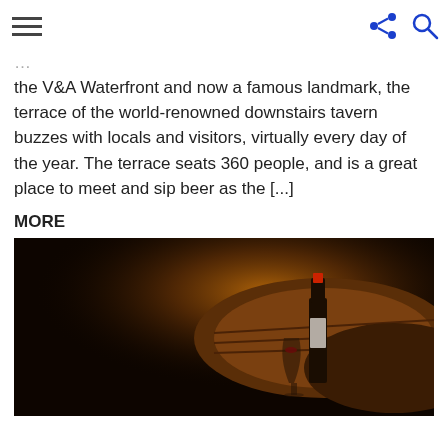Menu | Share | Search icons
the V&A Waterfront and now a famous landmark, the terrace of the world-renowned downstairs tavern buzzes with locals and visitors, virtually every day of the year. The terrace seats 360 people, and is a great place to meet and sip beer as the [...] MORE
[Figure (photo): Dark moody photo of a wine bottle and glass next to wooden barrels in a dimly lit cellar with warm amber/orange lighting]